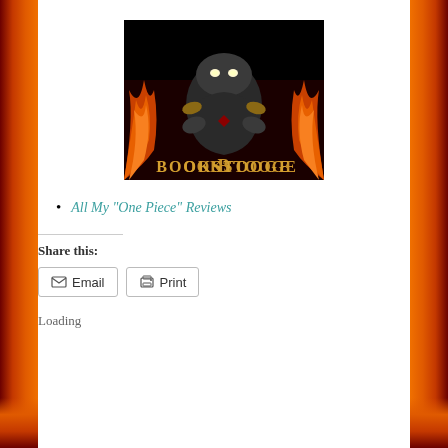[Figure (illustration): Bookstooge logo: a dark hooded figure with glowing eyes surrounded by flames, with the word BOOKSTOOGE in ornate gold/copper lettering on a black background]
All My "One Piece" Reviews
Share this:
Email   Print
Loading